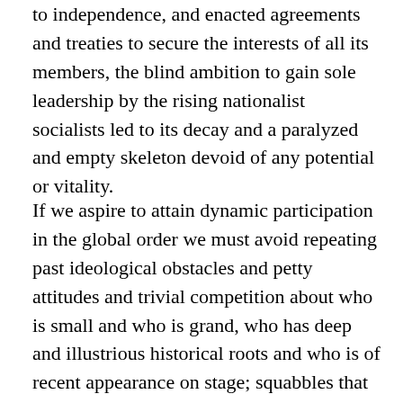to independence, and enacted agreements and treaties to secure the interests of all its members, the blind ambition to gain sole leadership by the rising nationalist socialists led to its decay and a paralyzed and empty skeleton devoid of any potential or vitality.
If we aspire to attain dynamic participation in the global order we must avoid repeating past ideological obstacles and petty attitudes and trivial competition about who is small and who is grand, who has deep and illustrious historical roots and who is of recent appearance on stage; squabbles that characterized attempts at cooperation throughout the past seven decades.